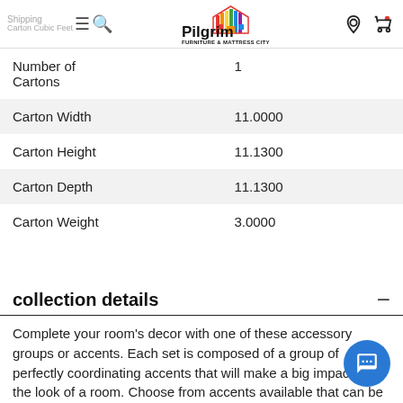Shipping | Pilgrim Furniture & Mattress City | Carton Cubic Feet
| Number of Cartons | 1 |
| Carton Width | 11.0000 |
| Carton Height | 11.1300 |
| Carton Depth | 11.1300 |
| Carton Weight | 3.0000 |
collection details
Complete your room's decor with one of these accessory groups or accents. Each set is composed of a group of perfectly coordinating accents that will make a big impact on the look of a room. Choose from accents available that can be used to make your home.